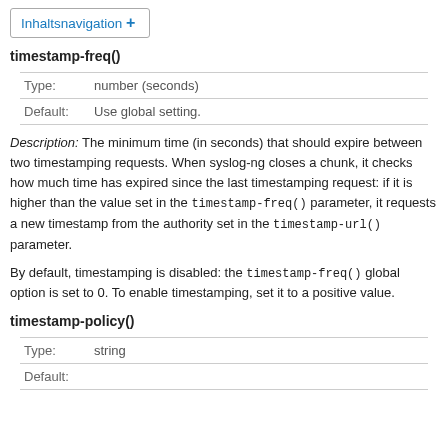Inhaltsnavigation +
timestamp-freq()
|  |  |
| --- | --- |
| Type: | number (seconds) |
| Default: | Use global setting. |
Description: The minimum time (in seconds) that should expire between two timestamping requests. When syslog-ng closes a chunk, it checks how much time has expired since the last timestamping request: if it is higher than the value set in the timestamp-freq() parameter, it requests a new timestamp from the authority set in the timestamp-url() parameter.
By default, timestamping is disabled: the timestamp-freq() global option is set to 0. To enable timestamping, set it to a positive value.
timestamp-policy()
|  |  |
| --- | --- |
| Type: | string |
| Default: |  |